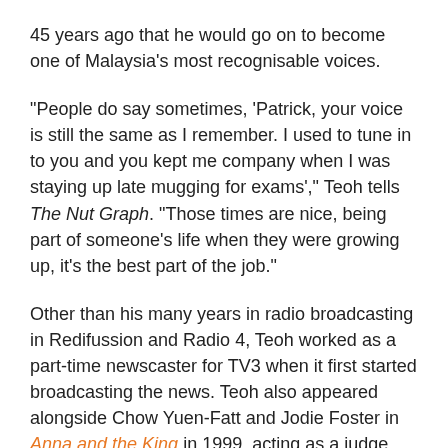45 years ago that he would go on to become one of Malaysia's most recognisable voices.
"People do say sometimes, 'Patrick, your voice is still the same as I remember. I used to tune in to you and you kept me company when I was staying up late mugging for exams'," Teoh tells The Nut Graph. "Those times are nice, being part of someone's life when they were growing up, it's the best part of the job."
Other than his many years in radio broadcasting in Redifussion and Radio 4, Teoh worked as a part-time newscaster for TV3 when it first started broadcasting the news. Teoh also appeared alongside Chow Yuen-Fatt and Jodie Foster in Anna and the King in 1999, acting as a judge. He is now a full-time actor and a member of the Instant Café Theatre Company.